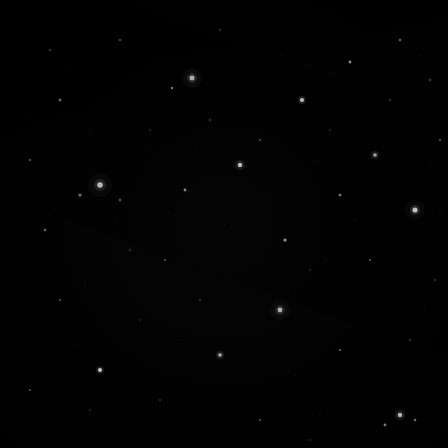[Figure (photo): Astronomical image showing a dark star field with numerous faint stars and point sources scattered across a nearly black background. The image appears to be a deep-sky observation, possibly from an infrared or optical telescope, showing a sparse distribution of stars with varying brightness levels against a very dark background.]